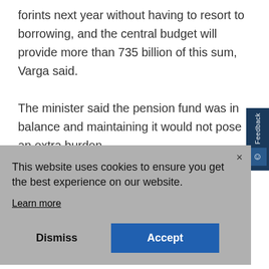forints next year without having to resort to borrowing, and the central budget will provide more than 735 billion of this sum, Varga said.
The minister said the pension fund was in balance and maintaining it would not pose an extra burden.
This website uses cookies to ensure you get the best experience on our website.
Learn more
Dismiss
Accept
Article courtesy of the Daily News Hungary